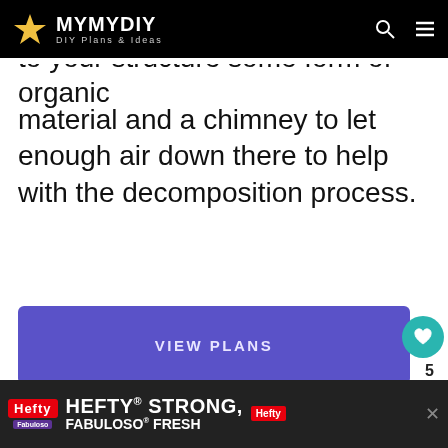MYMYDIY — DIY Plans & Ideas
to your structure some form of organic material and a chimney to let enough air down there to help with the decomposition process.
VIEW PLANS
8. Howto Specialist's Outhouse Bluepr…
WHAT'S NEXT → 24+ DIY Shed Plans [Free]
[Figure (screenshot): Advertisement banner: Hefty Strong, Fabuloso Fresh]